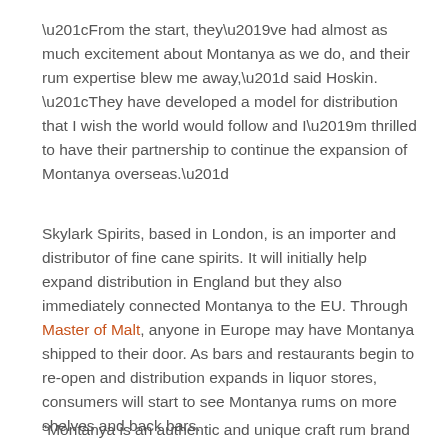“From the start, they’ve had almost as much excitement about Montanya as we do, and their rum expertise blew me away,” said Hoskin. “They have developed a model for distribution that I wish the world would follow and I’m thrilled to have their partnership to continue the expansion of Montanya overseas.”
Skylark Spirits, based in London, is an importer and distributor of fine cane spirits. It will initially help expand distribution in England but they also immediately connected Montanya to the EU. Through Master of Malt, anyone in Europe may have Montanya shipped to their door. As bars and restaurants begin to re-open and distribution expands in liquor stores, consumers will start to see Montanya rums on more shelves and back bars.
“Montanya is an authentic and unique craft rum brand